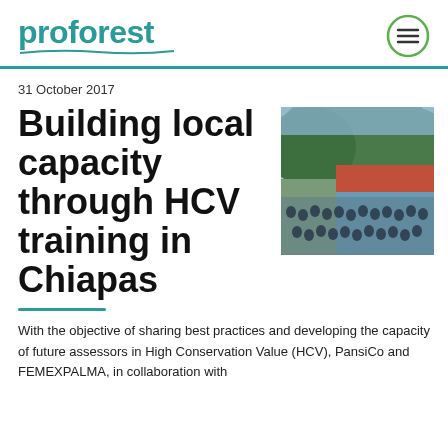proforest
31 October 2017
Building local capacity through HCV training in Chiapas
[Figure (photo): Group photo of approximately 25-30 people posing outdoors in front of a red-roofed building and green forested hills in Chiapas, Mexico.]
With the objective of sharing best practices and developing the capacity of future assessors in High Conservation Value (HCV), PansiCo and FEMEXPALMA, in collaboration with